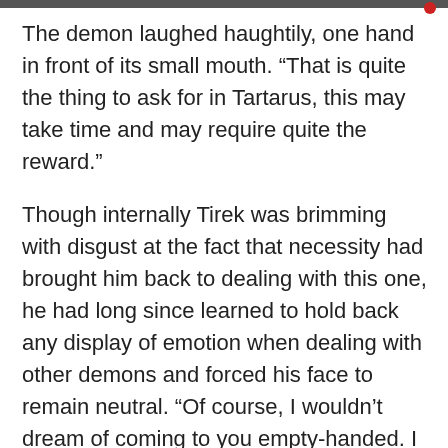The demon laughed haughtily, one hand in front of its small mouth. “That is quite the thing to ask for in Tartarus, this may take time and may require quite the reward.”
Though internally Tirek was brimming with disgust at the fact that necessity had brought him back to dealing with this one, he had long since learned to hold back any display of emotion when dealing with other demons and forced his face to remain neutral. “Of course, I wouldn’t dream of coming to you empty-handed. I have come across a rather rare supply of three hundred year old yak chocolate that had been stored in glacial ice. One of a kind and supposedly the best ever made. Think of it as a signing bonus for